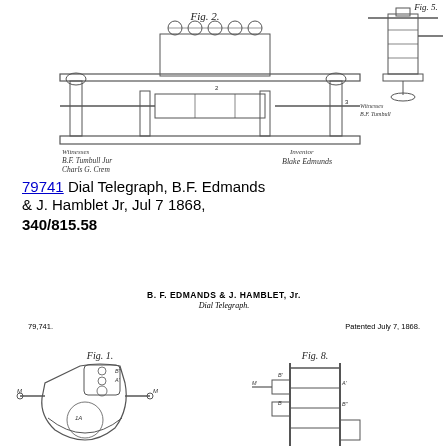[Figure (engineering-diagram): Patent drawing of a Dial Telegraph machine, side elevation view labeled Fig. 2, with witness and inventor signatures below]
[Figure (engineering-diagram): Partial patent drawing of Dial Telegraph, upper right corner view labeled Fig. 5, with witness signatures]
79741  Dial Telegraph, B.F. Edmands & J. Hamblet Jr, Jul 7 1868, 340/815.58
B. F. EDMANDS & J. HAMBLET, Jr.
Dial Telegraph.
79,741.  Patented July 7, 1868.
[Figure (engineering-diagram): Patent drawing Fig. 1 showing front view of dial telegraph mechanism component with labeled parts M, M, A, B]
[Figure (engineering-diagram): Patent drawing Fig. 8 showing side view of dial telegraph mechanism component with labeled parts]